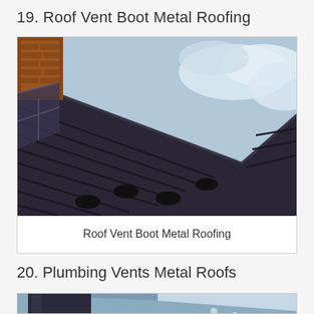19. Roof Vent Boot Metal Roofing
[Figure (photo): Close-up photograph of a dark metal roof with standing seam panels, showing a vent boot/pipe flashing detail, chimney visible in upper left, cloudy sky in background]
Roof Vent Boot Metal Roofing
20. Plumbing Vents Metal Roofs
[Figure (photo): Partial photograph of a metal roof with blue-grey coloring, showing plumbing vent pipe detail, partially cut off at bottom of page]